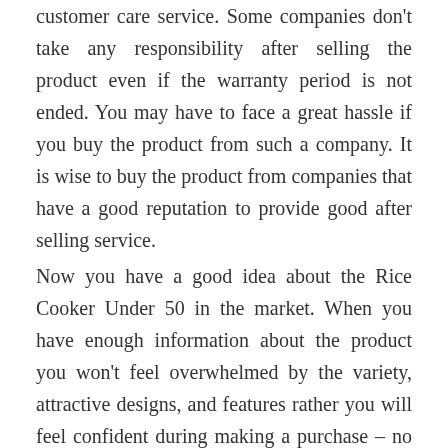customer care service. Some companies don't take any responsibility after selling the product even if the warranty period is not ended. You may have to face a great hassle if you buy the product from such a company. It is wise to buy the product from companies that have a good reputation to provide good after selling service.
Now you have a good idea about the Rice Cooker Under 50 in the market. When you have enough information about the product you won't feel overwhelmed by the variety, attractive designs, and features rather you will feel confident during making a purchase – no matter you purchase it online or offline.
Warranty and Customer Care Service